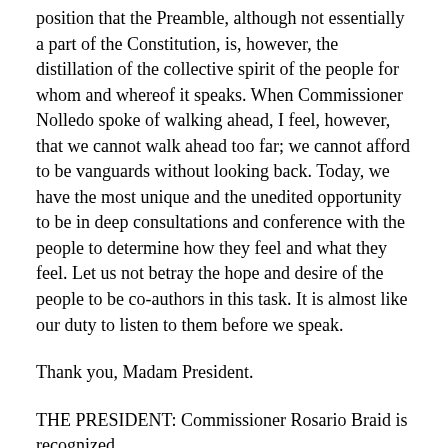position that the Preamble, although not essentially a part of the Constitution, is, however, the distillation of the collective spirit of the people for whom and whereof it speaks. When Commissioner Nolledo spoke of walking ahead, I feel, however, that we cannot walk ahead too far; we cannot afford to be vanguards without looking back. Today, we have the most unique and the unedited opportunity to be in deep consultations and conference with the people to determine how they feel and what they feel. Let us not betray the hope and desire of the people to be co-authors in this task. It is almost like our duty to listen to them before we speak.
Thank you, Madam President.
THE PRESIDENT: Commissioner Rosario Braid is recognized.